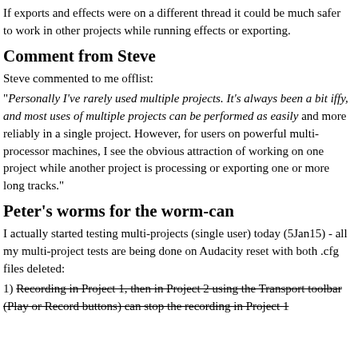If exports and effects were on a different thread it could be much safer to work in other projects while running effects or exporting.
Comment from Steve
Steve commented to me offlist:
"Personally I've rarely used multiple projects. It's always been a bit iffy, and most uses of multiple projects can be performed as easily and more reliably in a single project. However, for users on powerful multi-processor machines, I see the obvious attraction of working on one project while another project is processing or exporting one or more long tracks."
Peter's worms for the worm-can
I actually started testing multi-projects (single user) today (5Jan15) - all my multi-project tests are being done on Audacity reset with both .cfg files deleted:
1) Recording in Project 1, then in Project 2 using the Transport toolbar (Play or Record buttons) can stop the recording in Project 1